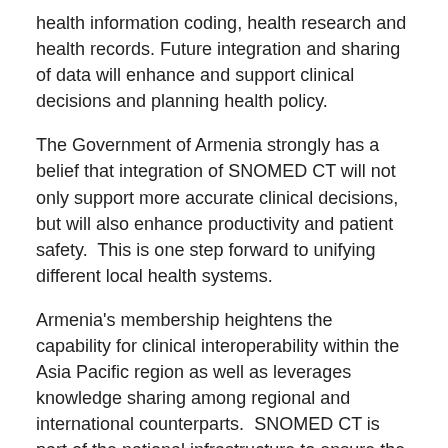health information coding, health research and health records. Future integration and sharing of data will enhance and support clinical decisions and planning health policy.
The Government of Armenia strongly has a belief that integration of SNOMED CT will not only support more accurate clinical decisions, but will also enhance productivity and patient safety.  This is one step forward to unifying different local health systems.
Armenia's membership heightens the capability for clinical interoperability within the Asia Pacific region as well as leverages knowledge sharing among regional and international counterparts.  SNOMED CT is part of the national infrastructure to ensure the exchange of accurate, relevant and timely information across all the information systems to support direct care, self-care and secondary uses of health information.